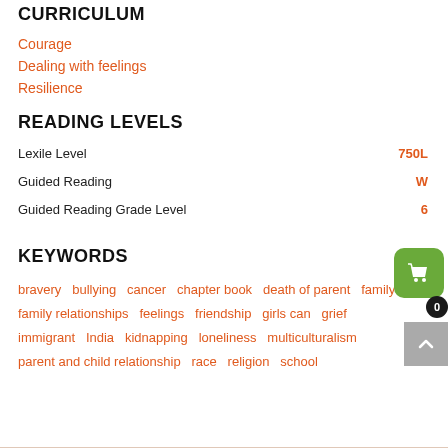CURRICULUM
Courage
Dealing with feelings
Resilience
READING LEVELS
Lexile Level   750L
Guided Reading   W
Guided Reading Grade Level   6
KEYWORDS
bravery  bullying  cancer  chapter book  death of parent  family  family relationships  feelings  friendship  girls can  grief  immigrant  India  kidnapping  loneliness  multiculturalism  parent and child relationship  race  religion  school